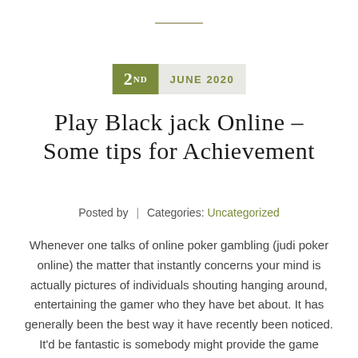— (decorative line) —
2ND  JUNE 2020
Play Black jack Online – Some tips for Achievement
Posted by | Categories: Uncategorized
Whenever one talks of online poker gambling (judi poker online) the matter that instantly concerns your mind is actually pictures of individuals shouting hanging around, entertaining the gamer who they have bet about. It has generally been the best way it have recently been noticed. It'd be fantastic is somebody might provide the game residence [...]